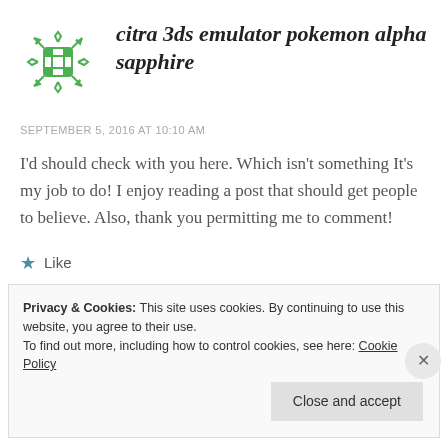citra 3ds emulator pokemon alpha sapphire
SEPTEMBER 5, 2016 AT 10:10 AM
I'd should check with you here. Which isn't something It's my job to do! I enjoy reading a post that should get people to believe. Also, thank you permitting me to comment!
★ Like
Privacy & Cookies: This site uses cookies. By continuing to use this website, you agree to their use.
To find out more, including how to control cookies, see here: Cookie Policy
Close and accept